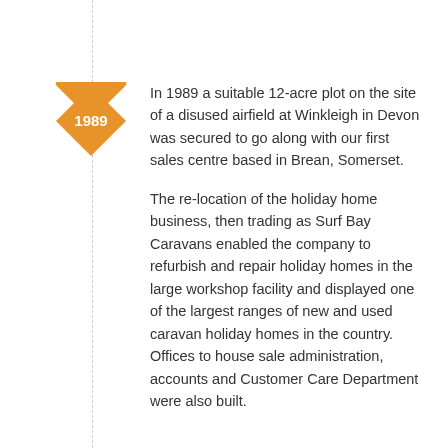[Figure (infographic): Orange diamond-shaped badge with the year 1989 in white text, used as a timeline marker]
In 1989 a suitable 12-acre plot on the site of a disused airfield at Winkleigh in Devon was secured to go along with our first sales centre based in Brean, Somerset.
The re-location of the holiday home business, then trading as Surf Bay Caravans enabled the company to refurbish and repair holiday homes in the large workshop facility and displayed one of the largest ranges of new and used caravan holiday homes in the country. Offices to house sale administration, accounts and Customer Care Department were also built.